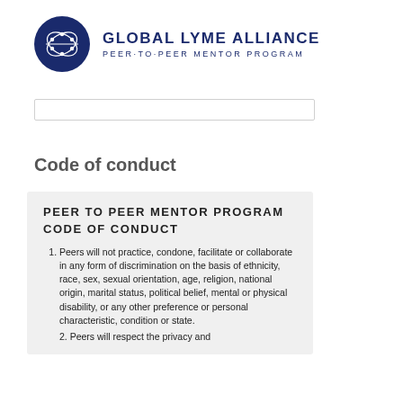[Figure (logo): Global Lyme Alliance Peer-to-Peer Mentor Program logo: dark navy circle with stylized network/molecule graphic, beside text 'GLOBAL LYME ALLIANCE' and 'PEER-TO-PEER MENTOR PROGRAM']
Code of conduct
PEER TO PEER MENTOR PROGRAM
CODE OF CONDUCT
Peers will not practice, condone, facilitate or collaborate in any form of discrimination on the basis of ethnicity, race, sex, sexual orientation, age, religion, national origin, marital status, political belief, mental or physical disability, or any other preference or personal characteristic, condition or state.
Peers will respect the privacy and...